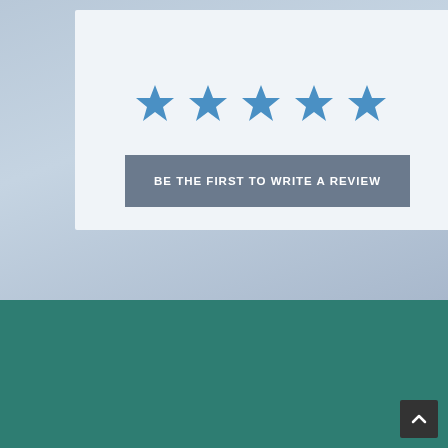[Figure (other): Five blue star rating icons displayed in a row on a light card background]
BE THE FIRST TO WRITE A REVIEW
[Figure (infographic): IVF Medications advertisement banner with teal heart logo containing pregnant woman silhouette. Text: IVF MEDICATIONS AT 50-70% DISCOUNT SERVING THE US AND PUERTO RICO FOR MORE THAN 20 YEARS]